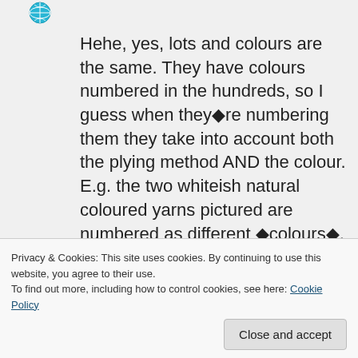[Figure (illustration): Small blue globe/avatar icon in the top-left of the comment area]
Hehe, yes, lots and colours are the same. They have colours numbered in the hundreds, so I guess when they�re numbering them they take into account both the plying method AND the colour. E.g. the two whiteish natural coloured yarns pictured are numbered as different �colours�, so you at least have that to guide you�
Privacy & Cookies: This site uses cookies. By continuing to use this website, you agree to their use.
To find out more, including how to control cookies, see here: Cookie Policy